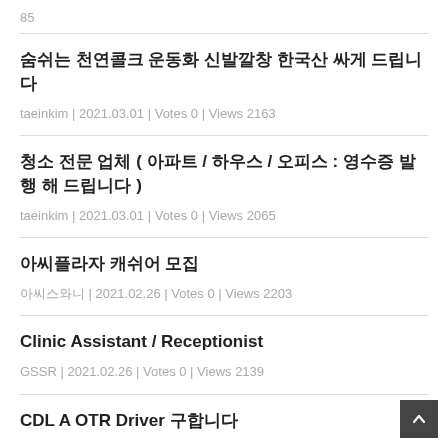85
숨쉬는 천연콜크 운동화 신발깔창 한국산 싸게 드립니다
taeinkim | 2021.03.01 | Votes 0 | Views 2163
청소 전문 업체 ( 아파트 / 하우스 / 오피스 : 영수증 발행 해 드립니다 )
taeinkim | 2021.03.01 | Votes 0 | Views 2065
아씨플라자 캐쉬어 모집
아씨스와니 | 2021.02.26 | Votes 0 | Views 2203
Clinic Assistant / Receptionist
GSSR | 2021.02.26 | Votes 0 | Views 2139
CDL A OTR Driver 구합니다